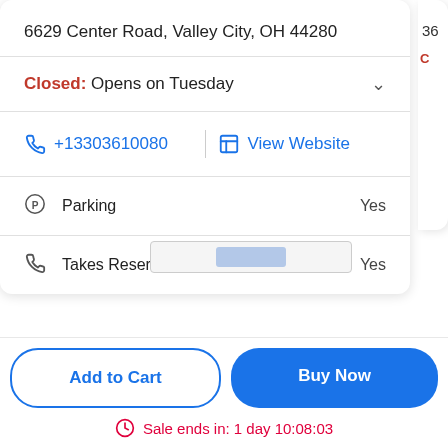6629 Center Road, Valley City, OH 44280
Closed: Opens on Tuesday
+13303610080
View Website
Parking — Yes
Takes Reservations — Yes
Add to Cart
Buy Now
Sale ends in: 1 day 10:08:03